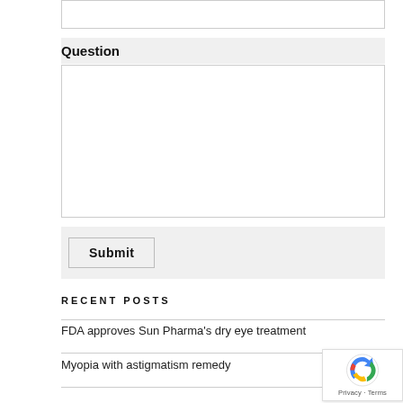Question
Submit
RECENT POSTS
FDA approves Sun Pharma's dry eye treatment
Myopia with astigmatism remedy